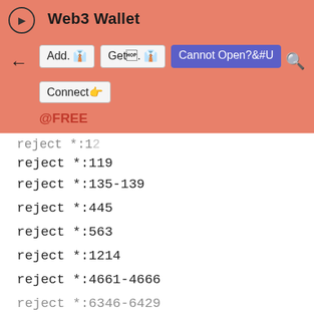Web3 Wallet
Add  Get  Cannot Open?  Connect  @FREE
reject *:119
reject *:135-139
reject *:445
reject *:563
reject *:1214
reject *:4661-4666
reject *:6346-6429
reject *:6699
reject *:6881-6999
accept *:*